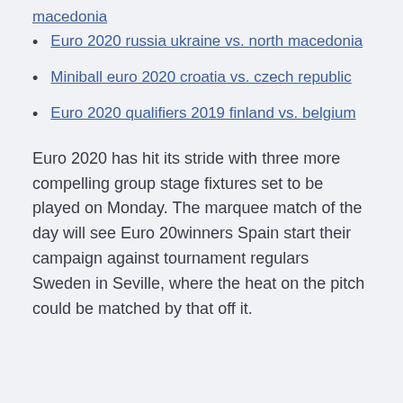Euro 2020 russia ukraine vs. north macedonia
Miniball euro 2020 croatia vs. czech republic
Euro 2020 qualifiers 2019 finland vs. belgium
Euro 2020 has hit its stride with three more compelling group stage fixtures set to be played on Monday. The marquee match of the day will see Euro 20winners Spain start their campaign against tournament regulars Sweden in Seville, where the heat on the pitch could be matched by that off it.